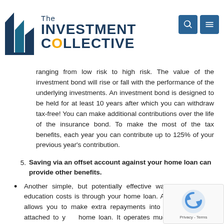The Investment Collective
ranging from low risk to high risk. The value of the investment bond will rise or fall with the performance of the underlying investments. An investment bond is designed to be held for at least 10 years after which you can withdraw tax-free! You can make additional contributions over the life of the insurance bond. To make the most of the tax benefits, each year you can contribute up to 125% of your previous year's contribution.
5. Saving via an offset account against your home loan can provide other benefits.
Another simple, but potentially effective way of saving for education costs is through your home loan. An offset account allows you to make extra repayments into a bank account attached to your home loan. It operates much like a normal bank